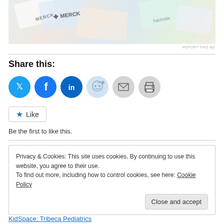[Figure (photo): Partial advertisement image showing Merck and Hachette branded materials/books at top of page]
REPORT THIS AD
Share this:
[Figure (infographic): Social sharing icons row: Twitter (blue), Facebook (blue), LinkedIn (dark blue), Reddit (light blue), Email (gray), Print (gray)]
Like
Be the first to like this.
Privacy & Cookies: This site uses cookies. By continuing to use this website, you agree to their use.
To find out more, including how to control cookies, see here: Cookie Policy
Close and accept
KidSpace: Tribeca Pediatrics